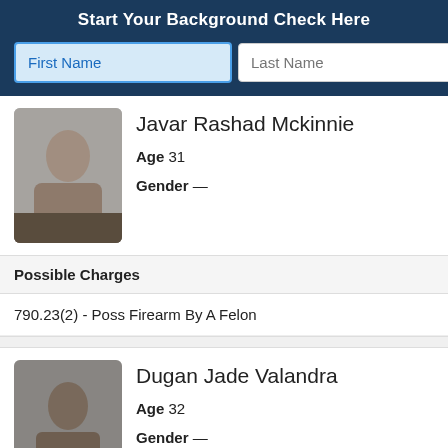Start Your Background Check Here
[Figure (screenshot): Search form with First Name (highlighted in blue) and Last Name input fields plus a green search button]
Javar Rashad Mckinnie
Age 31
Gender —
Possible Charges
790.23(2) - Poss Firearm By A Felon
Dugan Jade Valandra
Age 32
Gender —